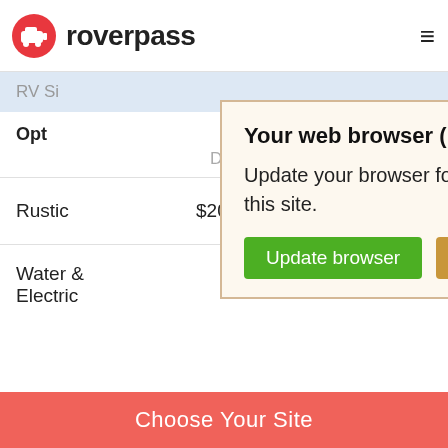roverpass
[Figure (screenshot): Browser update notification popup over a roverpass campground rates page. Popup reads: 'Your web browser (iOS 11) is out of date. Update your browser for more security, speed and the best experience on this site.' with 'Update browser' (green) and 'Ignore' (tan/gold) buttons.]
RV Si
Opt
Daily   Weekly   Monthly
Rustic   $20.00
Water &
Electric
Choose Your Site